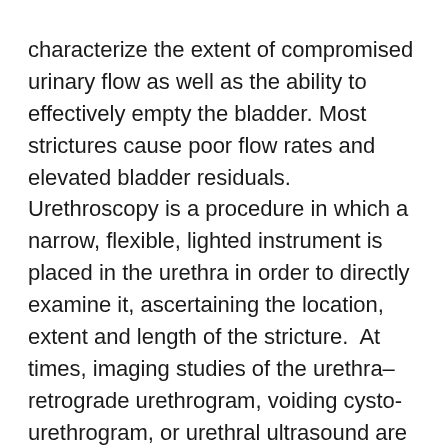characterize the extent of compromised urinary flow as well as the ability to effectively empty the bladder. Most strictures cause poor flow rates and elevated bladder residuals. Urethroscopy is a procedure in which a narrow, flexible, lighted instrument is placed in the urethra in order to directly examine it, ascertaining the location, extent and length of the stricture.  At times, imaging studies of the urethra–retrograde urethrogram, voiding cysto-urethrogram, or urethral ultrasound are performed to gain further information.  With urethroscopy and imaging studies, the location, length, and depth of the scar and degree of extension into the spongy tissue that surrounds the urethra can be deduced.
Mild strictures can be managed with simple urethral dilation that may be curative. This involves the passage of successively larger dilating instruments through the